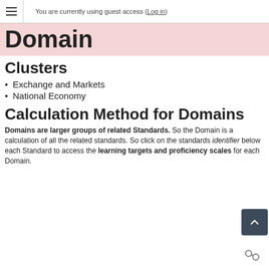You are currently using guest access (Log in)
Domain
Clusters
Exchange and Markets
National Economy
Calculation Method for Domains
Domains are larger groups of related Standards. So the Domain is a calculation of all the related standards. So click on the standards identifier below each Standard to access the learning targets and proficiency scales for each Domain.